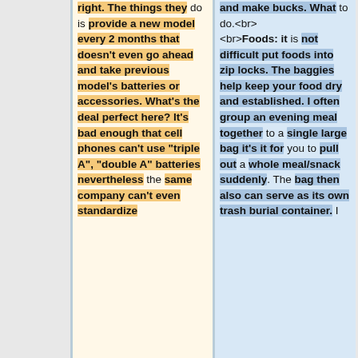right. The things they do is provide a new model every 2 months that doesn't even go ahead and take previous model's batteries or accessories. What's the deal perfect here? It's bad enough that cell phones can't use "triple A", "double A" batteries nevertheless the same company can't even standardize
and make bucks. What to do.<br><br>Foods: it is not difficult put foods into zip locks. The baggies help keep your food dry and established. I often group an evening meal together to a single large bag it's it for you to pull out a whole meal/snack suddenly. The bag then also can serve as its own trash burial container. I